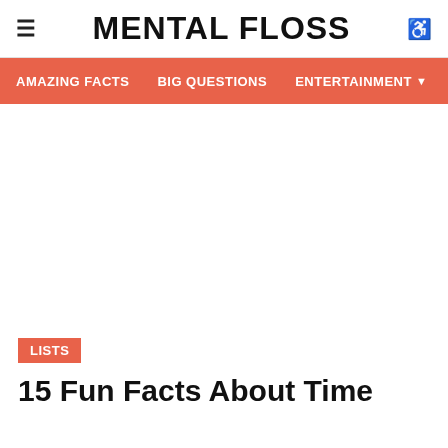≡  MENTAL FLOSS  ♿
AMAZING FACTS   BIG QUESTIONS   ENTERTAINMENT ▼
[Figure (photo): Large hero image area (white/blank in this view)]
LISTS
15 Fun Facts About Time